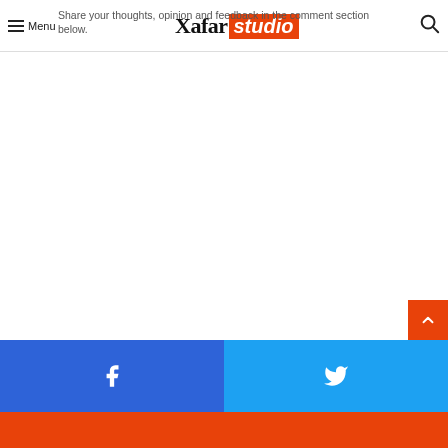Xafar studio
Share your thoughts, opinion and feedback in the comment section below.
[Figure (screenshot): Main content area, empty white space]
Facebook share button | Twitter share button